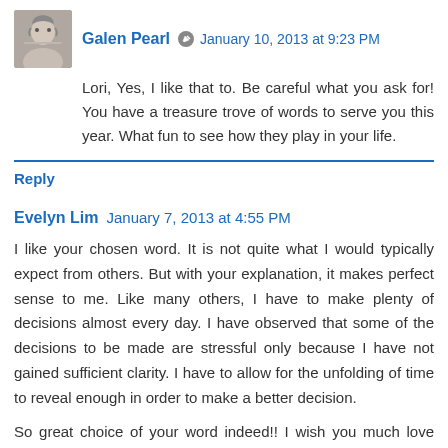[Figure (photo): Avatar photo of Galen Pearl, a woman with short gray hair and glasses]
Galen Pearl  January 10, 2013 at 9:23 PM
Lori, Yes, I like that to. Be careful what you ask for! You have a treasure trove of words to serve you this year. What fun to see how they play in your life.
Reply
Evelyn Lim  January 7, 2013 at 4:55 PM
I like your chosen word. It is not quite what I would typically expect from others. But with your explanation, it makes perfect sense to me. Like many others, I have to make plenty of decisions almost every day. I have observed that some of the decisions to be made are stressful only because I have not gained sufficient clarity. I have to allow for the unfolding of time to reveal enough in order to make a better decision.
So great choice of your word indeed!! I wish you much love and happiness in the new year!